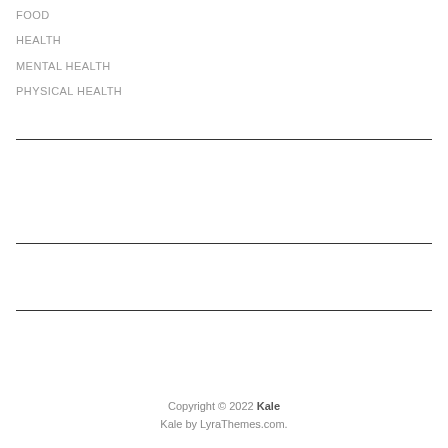FOOD
HEALTH
MENTAL HEALTH
PHYSICAL HEALTH
Copyright © 2022 Kale
Kale by LyraThemes.com.